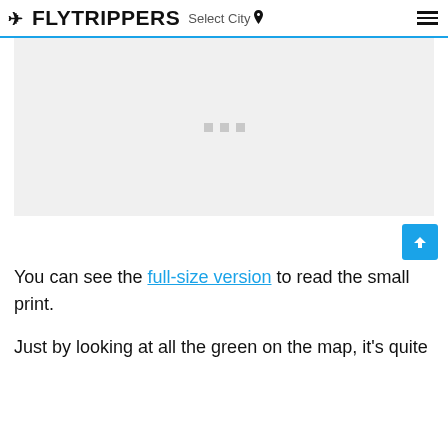FLYTRIPPERS  Select City
[Figure (other): Advertisement placeholder box with three grey dots in the center]
You can see the full-size version to read the small print.
Just by looking at all the green on the map, it's quite